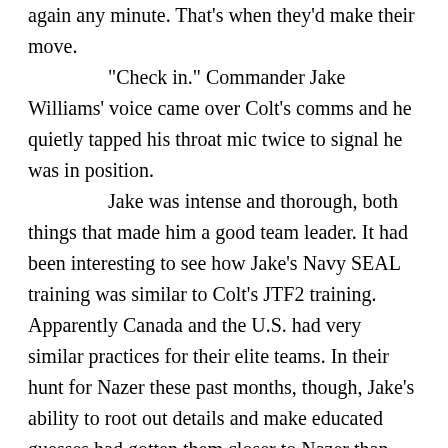again any minute. That's when they'd make their move.

"Check in." Commander Jake Williams' voice came over Colt's comms and he quietly tapped his throat mic twice to signal he was in position.

Jake was intense and thorough, both things that made him a good team leader. It had been interesting to see how Jake's Navy SEAL training was similar to Colt's JTF2 training. Apparently Canada and the U.S. had very similar practices for their elite teams. In their hunt for Nazer these past months, though, Jake's ability to root out details and make educated guesses had gotten them closer to Nazer than they'd ever been before. If all went well, tonight was the night they'd have him in custody.  They had two minutes to get in, grab Nazer, and get out. The extraction site was in the foothills just outside of town and Colt was ready to get this